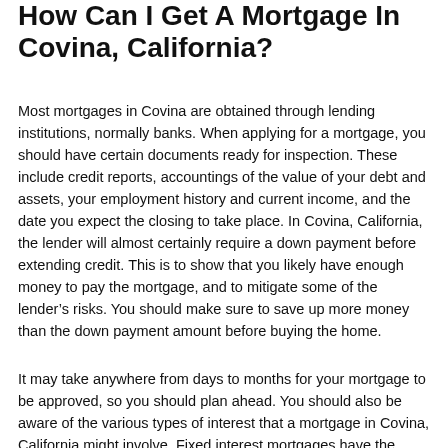How Can I Get A Mortgage In Covina, California?
Most mortgages in Covina are obtained through lending institutions, normally banks. When applying for a mortgage, you should have certain documents ready for inspection. These include credit reports, accountings of the value of your debt and assets, your employment history and current income, and the date you expect the closing to take place. In Covina, California, the lender will almost certainly require a down payment before extending credit. This is to show that you likely have enough money to pay the mortgage, and to mitigate some of the lender's risks. You should make sure to save up more money than the down payment amount before buying the home.
It may take anywhere from days to months for your mortgage to be approved, so you should plan ahead. You should also be aware of the various types of interest that a mortgage in Covina, California might involve. Fixed interest mortgages have the same interest rate throughout the